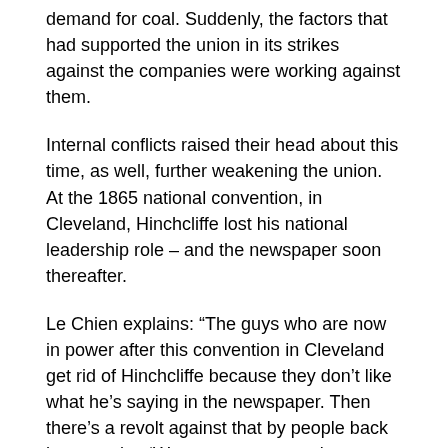demand for coal. Suddenly, the factors that had supported the union in its strikes against the companies were working against them.
Internal conflicts raised their head about this time, as well, further weakening the union. At the 1865 national convention, in Cleveland, Hinchcliffe lost his national leadership role – and the newspaper soon thereafter.
Le Chien explains: “The guys who are now in power after this convention in Cleveland get rid of Hinchcliffe because they don’t like what he’s saying in the newspaper. Then there’s a revolt against that by people back here, saying ‘We want a paper and we want him in charge.’ I think that’s kind of the beginning of the end of the union, when they start this internal bickering.”